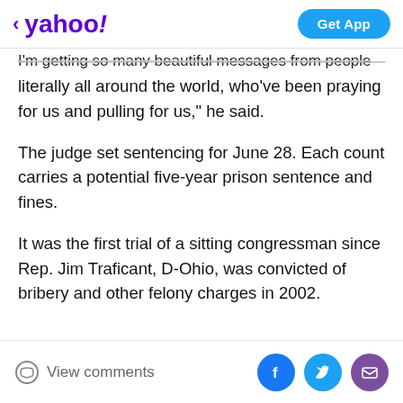< yahoo! | Get App
I'm getting so many beautiful messages from people literally all around the world, who've been praying for us and pulling for us," he said.
The judge set sentencing for June 28. Each count carries a potential five-year prison sentence and fines.
It was the first trial of a sitting congressman since Rep. Jim Traficant, D-Ohio, was convicted of bribery and other felony charges in 2002.
[Figure (photo): Advertisement for Gundry MD Total Restore showing a bowl of muesli/granola with nuts and grains on a red bowl with a spoon]
View comments | Facebook | Twitter | Email share buttons